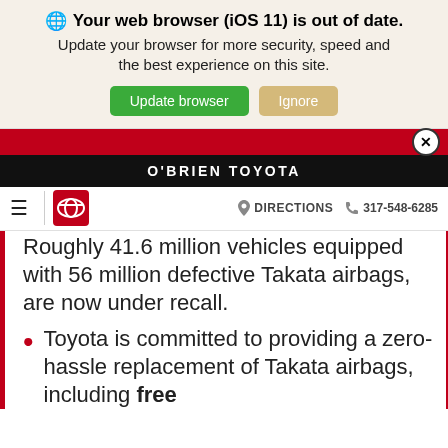Your web browser (iOS 11) is out of date. Update your browser for more security, speed and the best experience on this site.
O'BRIEN TOYOTA
DIRECTIONS 317-548-6285
Roughly 41.6 million vehicles equipped with 56 million defective Takata airbags, are now under recall.
Toyota is committed to providing a zero-hassle replacement of Takata airbags, including free